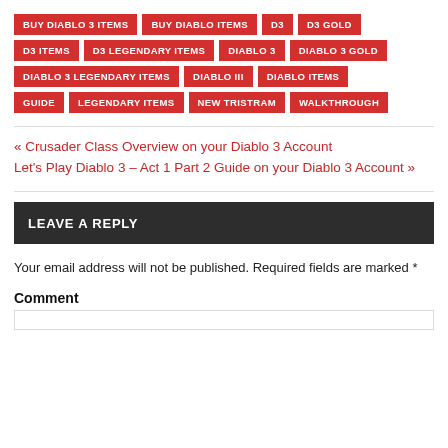BUY DIABLO 3 ITEMS | BUY DIABLO ITEMS | D3 | D3 GOLD | D3 ITEMS | D3 LEGENDARY ITEMS | DIABLO 3 | DIABLO 3 GOLD | DIABLO 3 LEGENDARY ITEMS | DIABLO III | DIABLO ITEMS | GUIDE | LEGENDARY ITEMS | NEW TRISTRAM | WALKTHROUGH
« Crusader Class Overview on your Diablo 3 Account
Let's Play Diablo 3 – Act 1 Part 2 Guide on your Diablo 3 Account »
LEAVE A REPLY
Your email address will not be published. Required fields are marked *
Comment